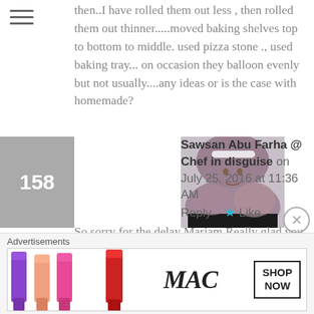[Figure (other): Hamburger menu icon (three horizontal lines)]
then..I have rolled them out less , then rolled them out thinner.....moved baking shelves top to bottom to middle. used pizza stone ., used baking tray... on occasion they balloon evenly but not usually....any ideas or is the case with homemade?
158
[Figure (photo): Profile photo of Sawsan Abu Farha, a woman wearing a hijab]
Sawsan Abu Farha @ Chef in disguise on July 25, 2016 at 11:36 AM   Reply  ★ Like
So sorry for the delay Mariam Really glad you enjoy the bread taste and texture Have you tried to use an upside
Advertisements
[Figure (photo): MAC cosmetics advertisement banner showing lipsticks with SHOP NOW button]